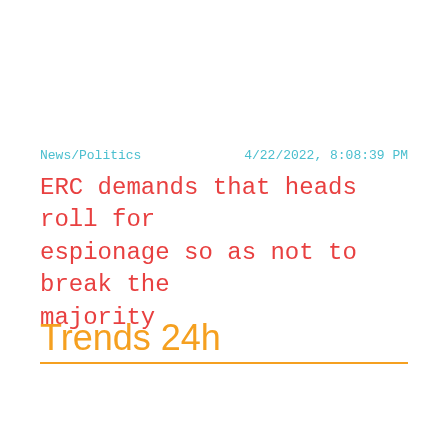News/Politics    4/22/2022, 8:08:39 PM
ERC demands that heads roll for espionage so as not to break the majority
Trends 24h